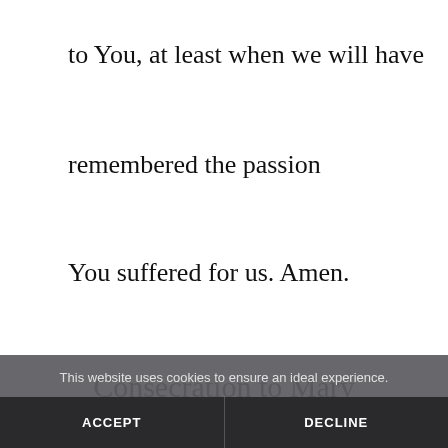to You, at least when we will have remembered the passion You suffered for us. Amen.
Consecration to Mary
[Figure (other): Broken image placeholder with alt text]
O Immaculate Heart of Mary,
This website uses cookies to ensure an ideal experience.
ACCEPT
DECLINE